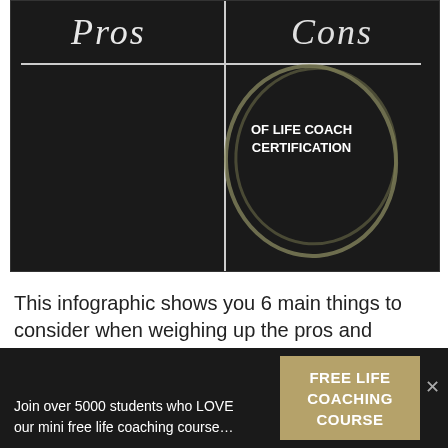[Figure (infographic): Chalkboard image showing a Pros and Cons table with 'OF LIFE COACH CERTIFICATION' text in the Cons quadrant, with a hand-drawn circle around that area.]
This infographic shows you 6 main things to consider when weighing up the pros and cons of no certification versus free/cheap certification and ICF
Join over 5000 students who LOVE our mini free life coaching course...
FREE LIFE COACHING COURSE